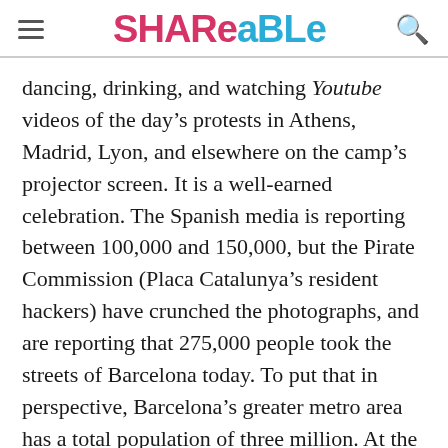Shareable
dancing, drinking, and watching Youtube videos of the day’s protests in Athens, Madrid, Lyon, and elsewhere on the camp’s projector screen. It is a well-earned celebration. The Spanish media is reporting between 100,000 and 150,000, but the Pirate Commission (Placa Catalunya’s resident hackers) have crunched the photographs, and are reporting that 275,000 people took the streets of Barcelona today. To put that in perspective, Barcelona’s greater metro area has a total population of three million. At the